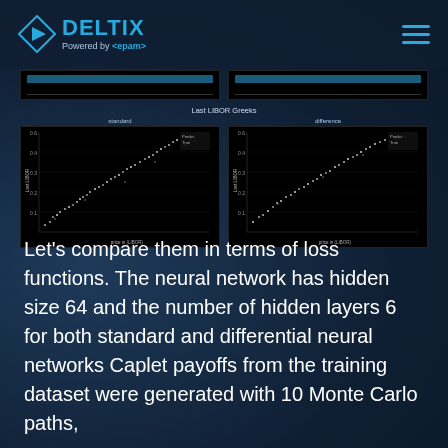[Figure (logo): Deltix logo with diamond/play button icon in blue and white, text DELTIX in blue, Powered by EPAM below]
[Figure (continuous-plot): Two small horizontal bar/distribution charts at top of charts area, dark background with light blue bar]
Last LIBOR Greeks
[Figure (scatter-plot): Left scatter plot labeled 'standard' showing scattered white dots on black background, with legend showing Predict/True, y-axis labeled Last LIBOR, x-axis showing price values]
[Figure (scatter-plot): Right scatter plot labeled 'difference' showing scattered white dots on black background, with legend showing Predict/True, axes similar to left plot]
Let's compare them in terms of loss functions. The neural network has hidden size 64 and the number of hidden layers 6 for both standard and differential neural networks Caplet payoffs from the training dataset were generated with 10 Monte Carlo paths,